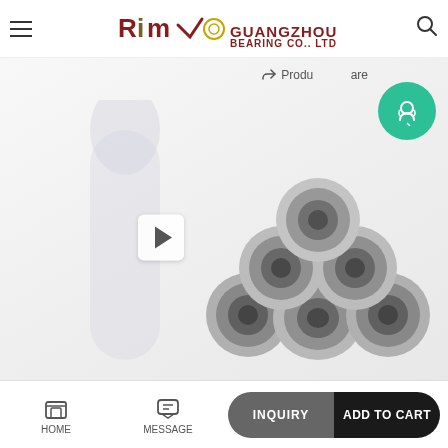GUANGZHOU RIMAO BEARING CO., LTD
Product Share
[Figure (photo): Photo of multiple small metallic ball bearings stacked in a pyramid arrangement, with a cylindrical or pen-like object in the background. A video play button is overlaid on the image.]
HOME  MESSAGE  INQUIRY  ADD TO CART